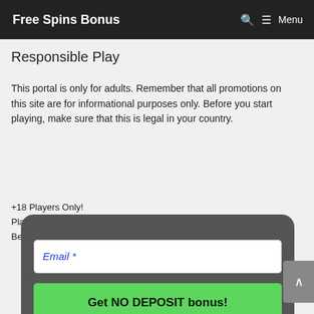Free Spins Bonus  🔍  ≡ Menu
Responsible Play
This portal is only for adults. Remember that all promotions on this site are for informational purposes only. Before you start playing, make sure that this is legal in your country.
+18 Players Only!
Pla...
Be...
[Figure (screenshot): Modal popup dialog with an email input field labeled 'Email *' and a green button labeled 'Get NO DEPOSIT bonus!' with a close button (x) at the bottom right.]